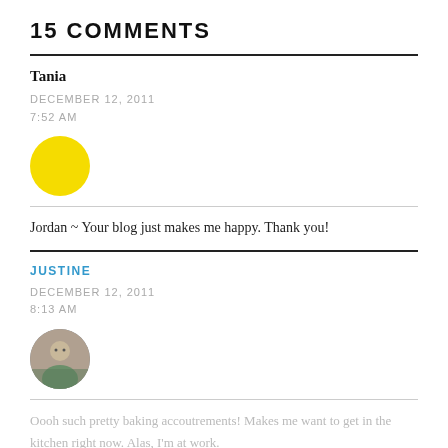15 COMMENTS
Tania
DECEMBER 12, 2011
7:52 AM
[Figure (illustration): Yellow circle avatar placeholder]
Jordan ~ Your blog just makes me happy. Thank you!
JUSTINE
DECEMBER 12, 2011
8:13 AM
[Figure (photo): Circular profile photo of Justine, outdoor setting]
Oooh such pretty baking accoutrements! Makes me want to get in the kitchen right now. Alas, I'm at work.